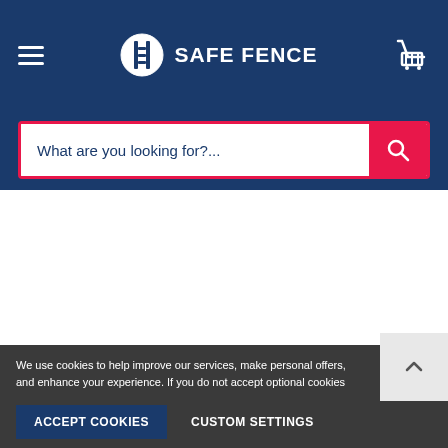[Figure (logo): Safe Fence logo with hamburger menu icon on left and shopping cart icon on right, white on dark blue background header]
What are you looking for?...
We use cookies to help improve our services, make personal offers, and enhance your experience. If you do not accept optional cookies below, your experience may be affected. If you want to know more, please read the Cookie Policy
ACCEPT COOKIES
CUSTOM SETTINGS